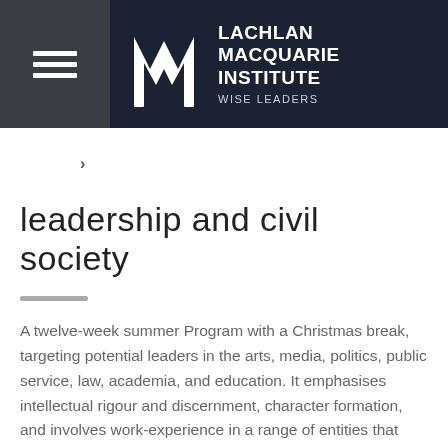LACHLAN MACQUARIE INSTITUTE WISE LEADERS
›
leadership and civil society
A twelve-week summer Program with a Christmas break, targeting potential leaders in the arts, media, politics, public service, law, academia, and education. It emphasises intellectual rigour and discernment, character formation, and involves work-experience in a range of entities that make up civil society, with